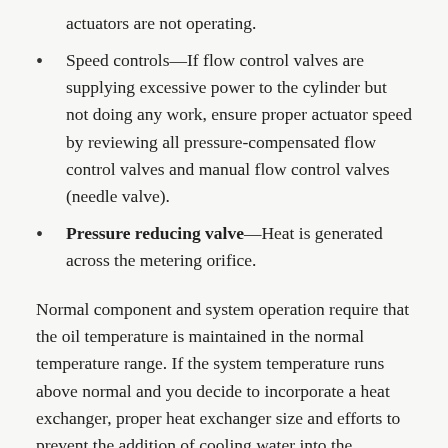actuators are not operating.
Speed controls—If flow control valves are supplying excessive power to the cylinder but not doing any work, ensure proper actuator speed by reviewing all pressure-compensated flow control valves and manual flow control valves (needle valve).
Pressure reducing valve—Heat is generated across the metering orifice.
Normal component and system operation require that the oil temperature is maintained in the normal temperature range. If the system temperature runs above normal and you decide to incorporate a heat exchanger, proper heat exchanger size and efforts to prevent the addition of cooling water into the hydraulic system is imperative.